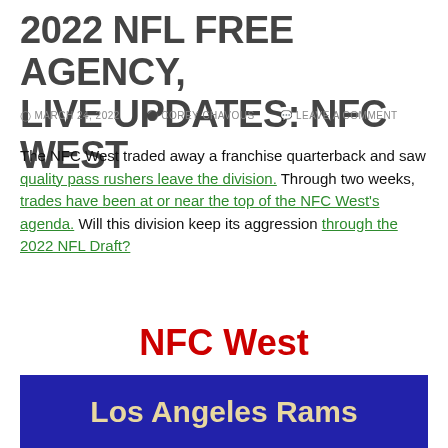2022 NFL FREE AGENCY, LIVE UPDATES: NFC WEST
MARCH 24, 2022   COREY CHAVOUS   LEAVE A COMMENT
The NFC West traded away a franchise quarterback and saw quality pass rushers leave the division. Through two weeks, trades have been at or near the top of the NFC West's agenda. Will this division keep its aggression through the 2022 NFL Draft?
NFC West
Los Angeles Rams